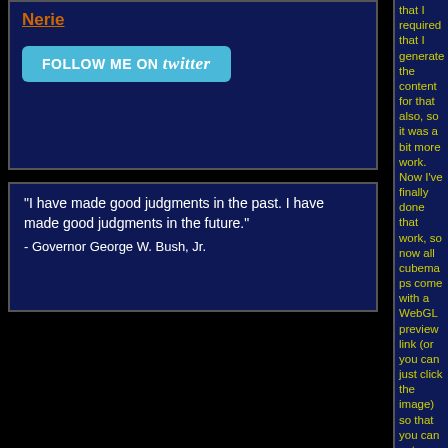Nerie
[Figure (other): Follow me on Twitter button]
"I have made good judgments in the past. I have made good judgments in the future."
- Governor George W. Bush, Jr.
that I required that I generate the content for that also, so it was a bit more work. Now I've finally done that work, so now all cubemaps come with a WebGL preview link (or you can just click the image) so that you can get a more intuitive and interactive view of a cubemap before deciding to download it. Note that the preview is only 512x512, whereas the full cubemaps are typically 2048x2048.
Name
Comment